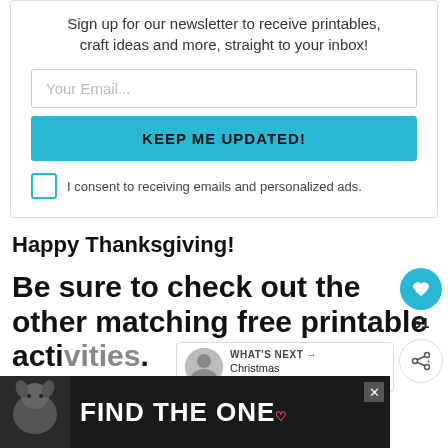Sign up for our newsletter to receive printables, craft ideas and more, straight to your inbox!
Your Email...
KEEP ME UPDATED!
I consent to receiving emails and personalized ads.
Happy Thanksgiving!
Be sure to check out the other matching free printable activities.
[Figure (screenshot): FIND THE ONE advertisement banner with a dog image on dark background]
WHAT'S NEXT → Christmas Placemat for...